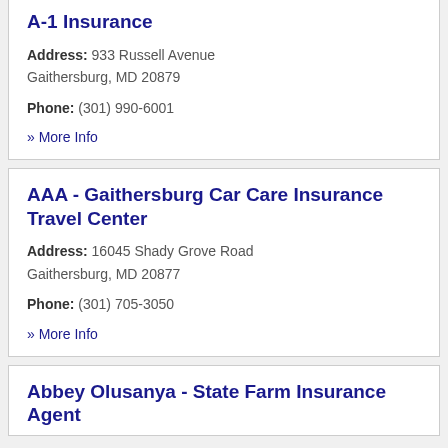A-1 Insurance
Address: 933 Russell Avenue Gaithersburg, MD 20879
Phone: (301) 990-6001
» More Info
AAA - Gaithersburg Car Care Insurance Travel Center
Address: 16045 Shady Grove Road Gaithersburg, MD 20877
Phone: (301) 705-3050
» More Info
Abbey Olusanya - State Farm Insurance Agent